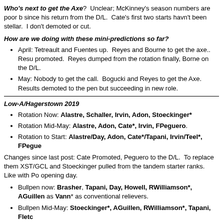Who's next to get the Axe?  Unclear; McKinney's season numbers are poor but since his return from the D/L.  Cate's first two starts havn't been stellar.  I don't demoted or cut.
How are we doing with these mini-predictions so far?
April: Tetreault and Fuentes up.  Reyes and Bourne to get the axe..  Resu promoted.  Reyes dumped from the rotation finally, Borne on the D/L.
May: Nobody to get the call.  Bogucki and Reyes to get the Axe.  Results demoted to the pen but succeeding in new role.
Low-A/Hagerstown 2019
Rotation Now: Alastre, Schaller, Irvin, Adon, Stoeckinger*
Rotation Mid-May: Alastre, Adon, Cate*, Irvin, FPeguero.
Rotation to Start: Alastre/Day, Adon, Cate*/Tapani, Irvin/Teel*, FPegue
Changes since last post: Cate Promoted, Peguero to the D/L.  To replace them XST/GCL and Stoeckinger pulled from the tandem starter ranks.  Like with Po opening day.
Bullpen now: Brasher, Tapani, Day, Howell, RWilliamson*, AGuillen as Vann* as conventional relievers.
Bullpen Mid-May: Stoeckinger*, AGuillen, RWilliamson*, Tapani, Fletc